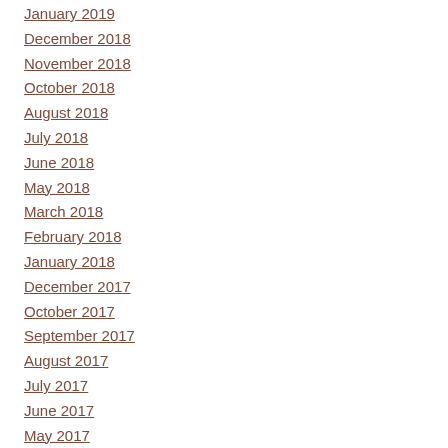January 2019
December 2018
November 2018
October 2018
August 2018
July 2018
June 2018
May 2018
March 2018
February 2018
January 2018
December 2017
October 2017
September 2017
August 2017
July 2017
June 2017
May 2017
March 2017